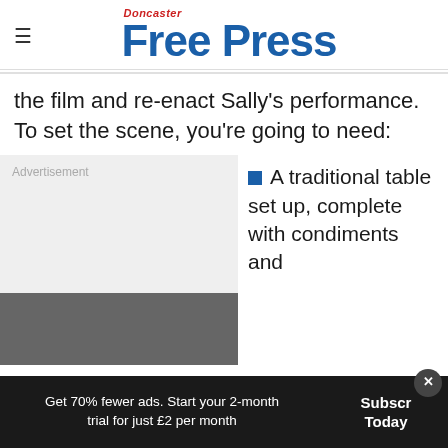Doncaster Free Press
the film and re-enact Sally's performance. To set the scene, you're going to need:
[Figure (other): Advertisement placeholder box with grey background]
A traditional table set up, complete with condiments and
Get 70% fewer ads. Start your 2-month trial for just £2 per month | Subscribe Today